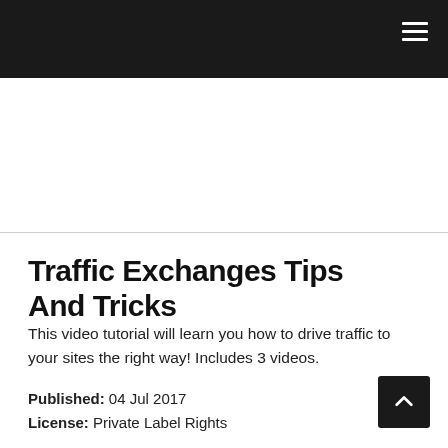☰
Traffic Exchanges Tips And Tricks
This video tutorial will learn you how to drive traffic to your sites the right way! Includes 3 videos.
Published: 04 Jul 2017
License: Private Label Rights